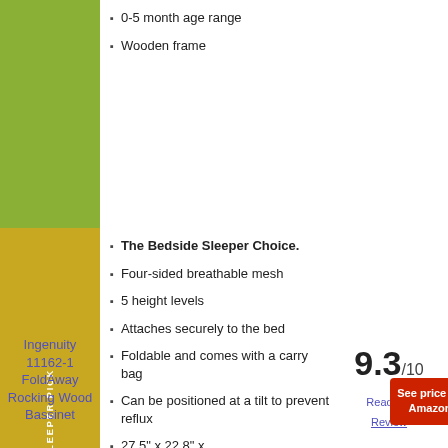0-5 month age range
Wooden frame
Ingenuity 11162-1 FoldAway Rocking Wood Bassinet
The Bedside Sleeper Choice.
Four-sided breathable mesh
5 height levels
Attaches securely to the bed
Foldable and comes with a carry bag
Can be positioned at a tilt to prevent reflux
27.5" x 22.8" x
9.3/10
Read our Review